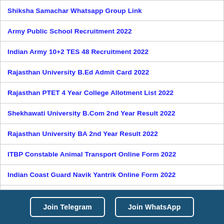Shiksha Samachar Whatsapp Group Link
Army Public School Recruitment 2022
Indian Army 10+2 TES 48 Recruitment 2022
Rajasthan University B.Ed Admit Card 2022
Rajasthan PTET 4 Year College Allotment List 2022
Shekhawati University B.Com 2nd Year Result 2022
Rajasthan University BA 2nd Year Result 2022
ITBP Constable Animal Transport Online Form 2022
Indian Coast Guard Navik Yantrik Online Form 2022
Join Telegram  Join WhatsApp